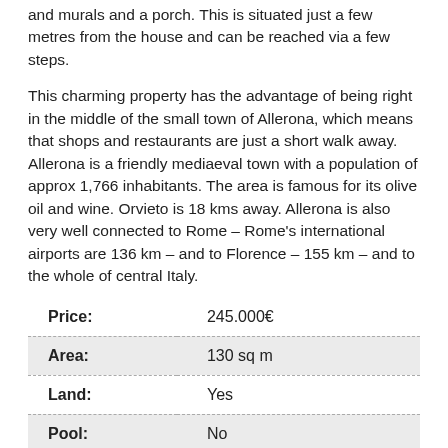and murals and a porch. This is situated just a few metres from the house and can be reached via a few steps.
This charming property has the advantage of being right in the middle of the small town of Allerona, which means that shops and restaurants are just a short walk away. Allerona is a friendly mediaeval town with a population of approx 1,766 inhabitants. The area is famous for its olive oil and wine. Orvieto is 18 kms away. Allerona is also very well connected to Rome – Rome's international airports are 136 km – and to Florence – 155 km – and to the whole of central Italy.
| Label | Value |
| --- | --- |
| Price: | 245.000€ |
| Area: | 130 sq m |
| Land: | Yes |
| Pool: | No |
| Location: | 05011 Allerona, Province of Terni, Italy |